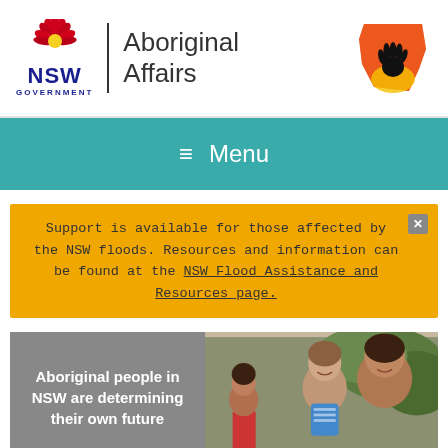[Figure (logo): NSW Government Aboriginal Affairs logo with NSW flower emblem, 'NSW GOVERNMENT' text, vertical divider, 'Aboriginal Affairs' text, and Aboriginal hand print on map of NSW logo]
≡  Menu
Support is available for those affected by the NSW floods. Resources and information can be found at the NSW Flood Assistance and Resources page.
[Figure (photo): Aboriginal mother and young child smiling, with text overlay 'Aboriginal people in NSW are determining their own future']